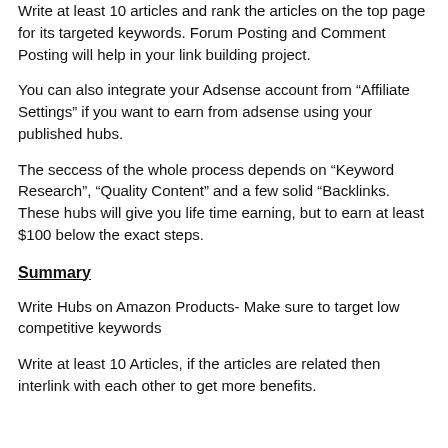Write at least 10 articles and rank the articles on the top page for its targeted keywords. Forum Posting and Comment Posting will help in your link building project.
You can also integrate your Adsense account from “Affiliate Settings” if you want to earn from adsense using your published hubs.
The seccess of the whole process depends on “Keyword Research”, “Quality Content” and a few solid “Backlinks. These hubs will give you life time earning, but to earn at least $100 below the exact steps.
Summary
Write Hubs on Amazon Products- Make sure to target low competitive keywords
Write at least 10 Articles, if the articles are related then interlink with each other to get more benefits.